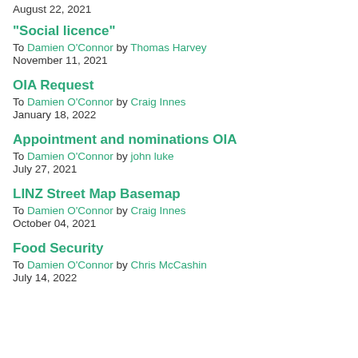August 22, 2021
"Social licence"
To Damien O'Connor by Thomas Harvey
November 11, 2021
OIA Request
To Damien O'Connor by Craig Innes
January 18, 2022
Appointment and nominations OIA
To Damien O'Connor by john luke
July 27, 2021
LINZ Street Map Basemap
To Damien O'Connor by Craig Innes
October 04, 2021
Food Security
To Damien O'Connor by Chris McCashin
July 14, 2022